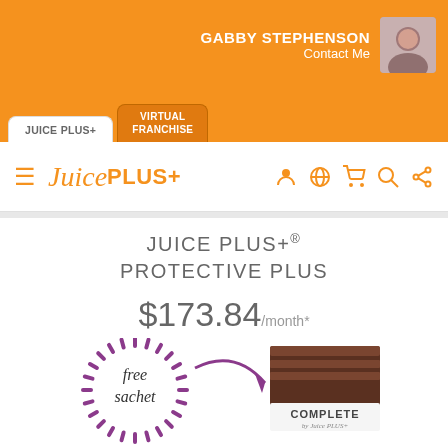GABBY STEPHENSON
Contact Me
JUICE PLUS+
VIRTUAL FRANCHISE
[Figure (logo): Juice PLUS+ logo with hamburger menu and navigation icons (user, globe, cart, search, share) in orange]
JUICE PLUS+® PROTECTIVE PLUS
$173.84/month*
[Figure (illustration): Free sachet circular dashed badge in purple with an arrow pointing to a Juice Plus+ Complete product sachet in brown/chocolate color]